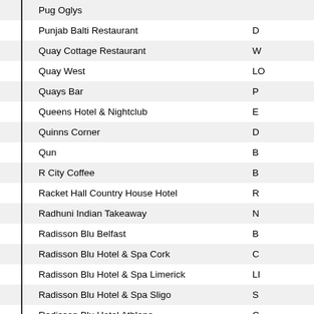| Name | Location |
| --- | --- |
| Pug Oglys |  |
| Punjab Balti Restaurant | D |
| Quay Cottage Restaurant | W |
| Quay West | LO |
| Quays Bar | P |
| Queens Hotel & Nightclub | E |
| Quinns Corner | D |
| Qun | B |
| R City Coffee | B |
| Racket Hall Country House Hotel | R |
| Radhuni Indian Takeaway | N |
| Radisson Blu Belfast | B |
| Radisson Blu Hotel & Spa Cork | C |
| Radisson Blu Hotel & Spa Limerick | LI |
| Radisson Blu Hotel & Spa Sligo | S |
| Radisson Blu Hotel Athlone | C |
| Radisson Blu Hotel Letterkenny | LE |
| Railway Bar | C |
| Rain Check Belfast |  |